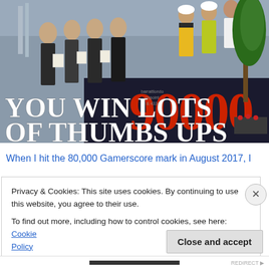[Figure (photo): Photo of several men in suits giving thumbs up alongside construction workers in hi-vis jackets, in front of large red '90000' digit display. White bold text overlay reads 'YOU WIN LOTS OF THUMBS UPS'.]
When I hit the 80,000 Gamerscore mark in August 2017, I
Privacy & Cookies: This site uses cookies. By continuing to use this website, you agree to their use.
To find out more, including how to control cookies, see here: Cookie Policy
Close and accept